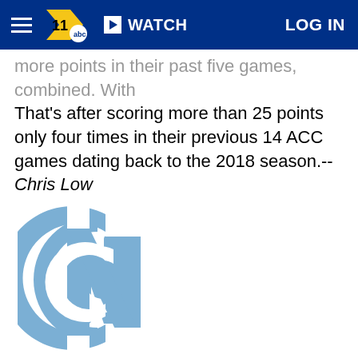WATCH  LOG IN
more points in their past five games, combined. With That's after scoring more than 25 points only four times in their previous 14 ACC games dating back to the 2018 season.-- Chris Low
[Figure (logo): North Carolina Tar Heels interlocking NC logo in light blue]
No. 8 North Carolina (2-0)
Drama has been the cornerstone of so many North Carolina games since Mack Brown returned, including six losses last year by a touchdown or less. So while this team rightfully absorbed its share of...